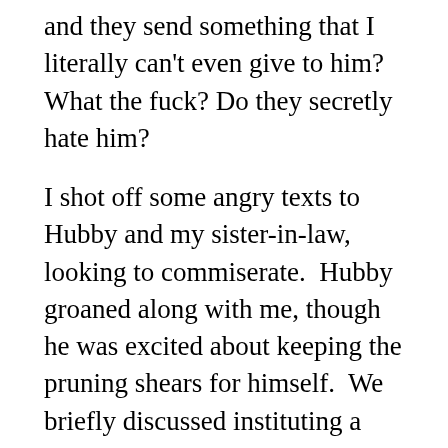and they send something that I literally can't even give to him? What the fuck? Do they secretly hate him?
I shot off some angry texts to Hubby and my sister-in-law, looking to commiserate. Hubby groaned along with me, though he was excited about keeping the pruning shears for himself. We briefly discussed instituting a “no more presents” rule that only applied to his parents. And we agreed that we would go out and buy K-Man one more present to replace this mess.
My sister-in-law expressed genuine